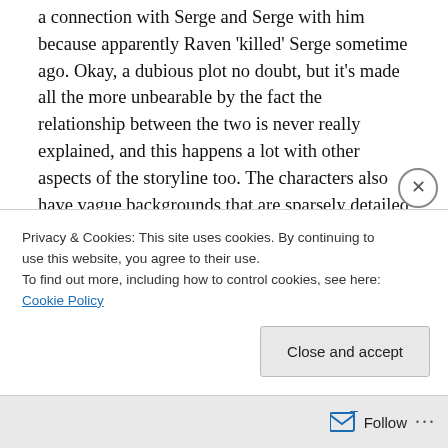a connection with Serge and Serge with him because apparently Raven 'killed' Serge sometime ago. Okay, a dubious plot no doubt, but it's made all the more unbearable by the fact the relationship between the two is never really explained, and this happens a lot with other aspects of the storyline too. The characters also have vague backgrounds that are sparsely detailed and as a result of this, I found myself just not giving a damn about them or the plot that revolved around them.

As far as Masami Obari goes, I've never really been
Privacy & Cookies: This site uses cookies. By continuing to use this website, you agree to their use.
To find out more, including how to control cookies, see here: Cookie Policy
Close and accept
Follow ···